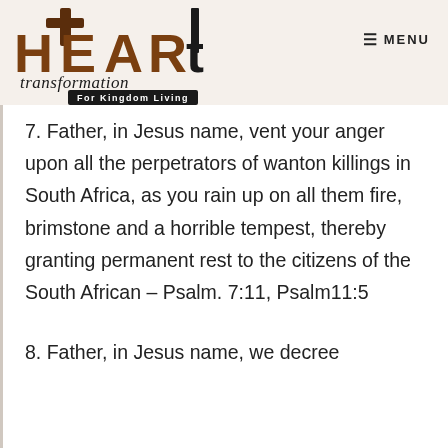[Figure (logo): Heart Transformation For Kingdom Living logo with bold stylized text and cross]
≡ MENU
7. Father, in Jesus name, vent your anger upon all the perpetrators of wanton killings in South Africa, as you rain up on all them fire, brimstone and a horrible tempest, thereby granting permanent rest to the citizens of the South African – Psalm. 7:11, Psalm11:5
8. Father, in Jesus name, we decree